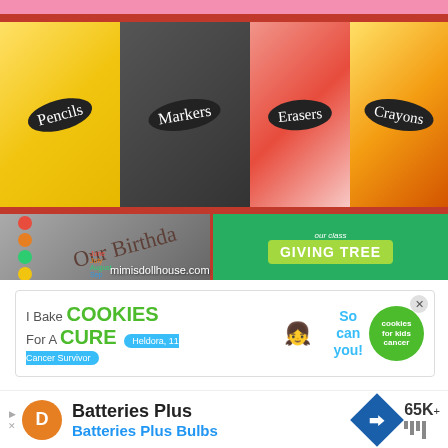[Figure (photo): Collage of school supply images: labeled jars with pencils, markers, erasers, crayons; a birthday book with colorful month dots; a green giving tree decoration with 'our class GIVING TREE' banner. Text overlay: mimisdollhouse.com]
[Figure (photo): Advertisement banner: 'I Bake COOKIES For A CURE - Heldora, 11 Cancer Survivor - So can you! cookies for kids cancer' with a girl photo and green circle logo. X close button.]
[Figure (photo): Advertisement: Batteries Plus Batteries Plus Bulbs, with orange D battery icon, blue diamond road sign icon, and '65K+' text with bar chart icon.]